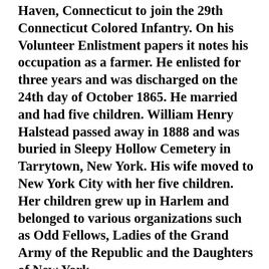Haven, Connecticut to join the 29th Connecticut Colored Infantry. On his Volunteer Enlistment papers it notes his occupation as a farmer. He enlisted for three years and was discharged on the 24th day of October 1865. He married and had five children. William Henry Halstead passed away in 1888 and was buried in Sleepy Hollow Cemetery in Tarrytown, New York. His wife moved to New York City with her five children. Her children grew up in Harlem and belonged to various organizations such as Odd Fellows, Ladies of the Grand Army of the Republic and the Daughters of New York.